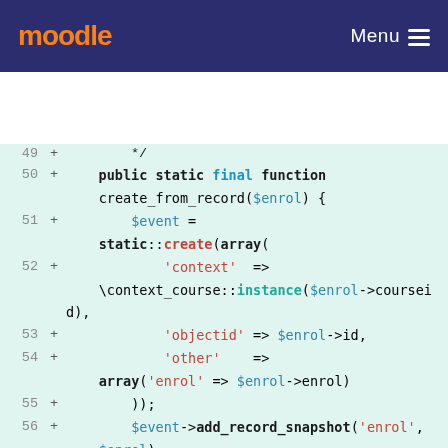moodle  Menu
[Figure (screenshot): Moodle code diff viewer showing PHP code for a static final function create_from_record($enrol), lines 49-60, with added lines marked by + signs on a light green background.]